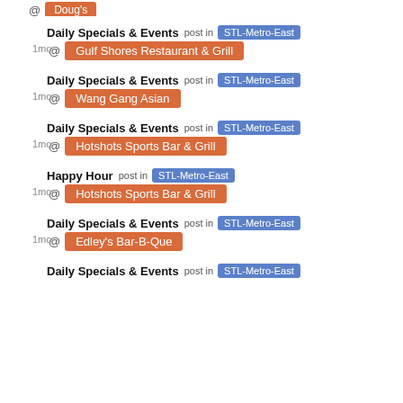@ [orange tag partial top]
Daily Specials & Events post in STL-Metro-East 1mo @ Gulf Shores Restaurant & Grill
Daily Specials & Events post in STL-Metro-East 1mo @ Wang Gang Asian
Daily Specials & Events post in STL-Metro-East 1mo @ Hotshots Sports Bar & Grill
Happy Hour post in STL-Metro-East 1mo @ Hotshots Sports Bar & Grill
Daily Specials & Events post in STL-Metro-East 1mo @ Edley's Bar-B-Que
Daily Specials & Events post in STL-Metro-East [partial bottom]